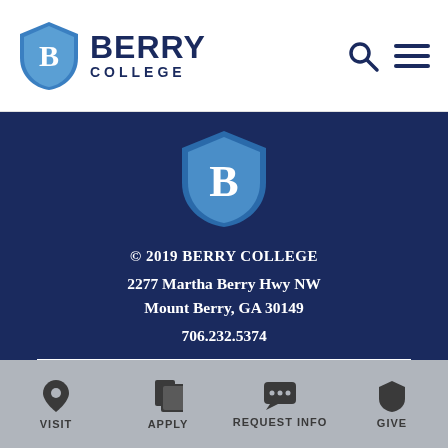Berry College
[Figure (logo): Berry College shield logo with B emblem and Berry College text]
© 2019 BERRY COLLEGE
2277 Martha Berry Hwy NW
Mount Berry, GA 30149
706.232.5374
CONTACT
VISIT  APPLY  REQUEST INFO  GIVE